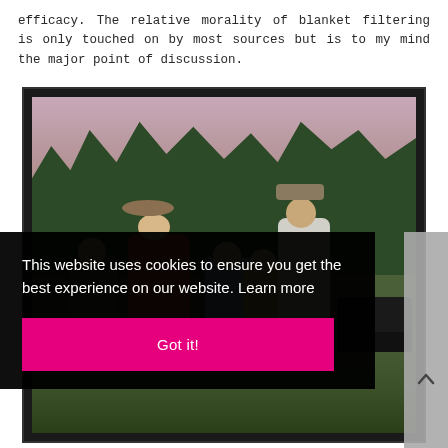efficacy. The relative morality of blanket filtering is only touched on by most sources but is to my mind the major point of discussion.
[Figure (photo): Vintage color photograph showing a family group of five people (two adults and three children) standing outdoors. A woman in a wide-brimmed hat and red/orange coat stands centrally, a tall man in a flat cap and white shirt stands behind, three children of varying ages are grouped around them. A dark vintage car is partially visible on the right. Trees and a pink/mauve sky are in the background.]
This website uses cookies to ensure you get the best experience on our website. Learn more
Got it!